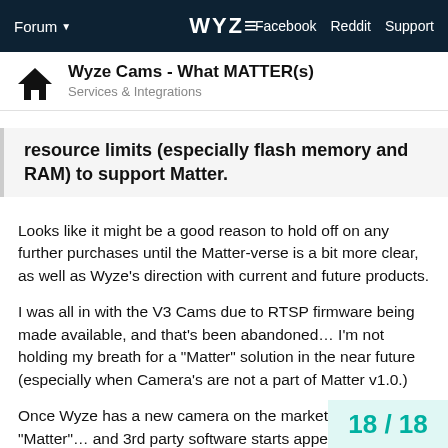Forum | WYZE | Facebook | Reddit | Support
Wyze Cams - What MATTER(s)
Services & Integrations
resource limits (especially flash memory and RAM) to support Matter.
Looks like it might be a good reason to hold off on any further purchases until the Matter-verse is a bit more clear, as well as Wyze's direction with current and future products.
I was all in with the V3 Cams due to RTSP firmware being made available, and that's been abandoned… I'm not holding my breath for a "Matter" solution in the near future (especially when Camera's are not a part of Matter v1.0.)
Once Wyze has a new camera on the market that speaks "Matter"… and 3rd party software starts appearing that is "Matter" compliant (aka… ONVIF / RTSP)… then we can all live in harmonious happiness, and I'll be able t V4 or V5 Cams on any Matter compliant de
18 / 18